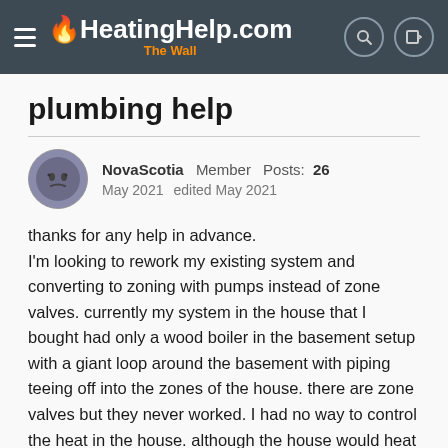HeatingHelp.com The Wall
plumbing help
NovaScotia  Member  Posts: 26  May 2021  edited May 2021
thanks for any help in advance. I'm looking to rework my existing system and converting to zoning with pumps instead of zone valves. currently my system in the house that I bought had only a wood boiler in the basement setup with a giant loop around the basement with piping teeing off into the zones of the house. there are zone valves but they never worked. I had no way to control the heat in the house. although the house would heat very well i